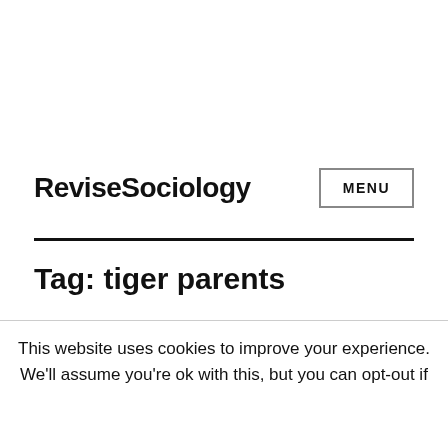ReviseSociology
Tag: tiger parents
This website uses cookies to improve your experience. We'll assume you're ok with this, but you can opt-out if